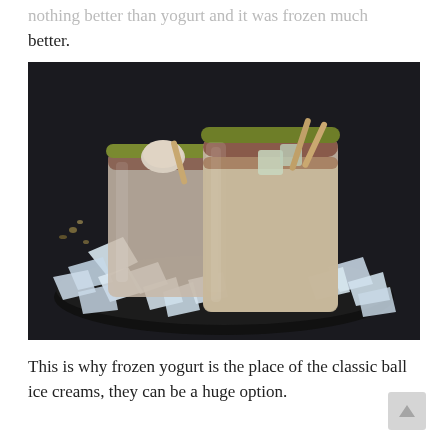nothing better than yogurt and it was frozen much better.
[Figure (photo): Two glasses filled with creamy frozen yogurt drinks, rimmed with green matcha sugar, garnished with wooden sticks and fruit pieces, sitting on a dark plate surrounded by crushed ice on a dark background.]
This is why frozen yogurt is the place of the classic ball ice creams, they can be a huge option.